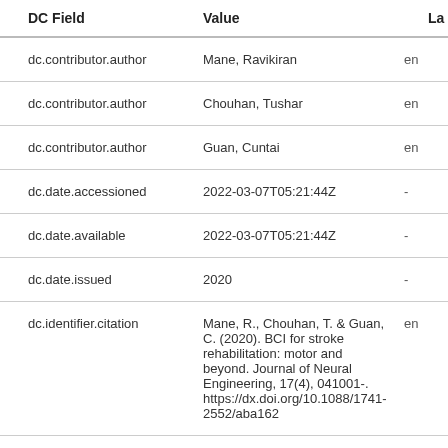| DC Field | Value | La |
| --- | --- | --- |
| dc.contributor.author | Mane, Ravikiran | en |
| dc.contributor.author | Chouhan, Tushar | en |
| dc.contributor.author | Guan, Cuntai | en |
| dc.date.accessioned | 2022-03-07T05:21:44Z | - |
| dc.date.available | 2022-03-07T05:21:44Z | - |
| dc.date.issued | 2020 | - |
| dc.identifier.citation | Mane, R., Chouhan, T. & Guan, C. (2020). BCI for stroke rehabilitation: motor and beyond. Journal of Neural Engineering, 17(4), 041001-. https://dx.doi.org/10.1088/1741-2552/aba162 | en |
| dc.identifier.issn | 1741-2560 | en |
| dc.identifier.uri | https://hdl.handle.net/10356/155236 | - |